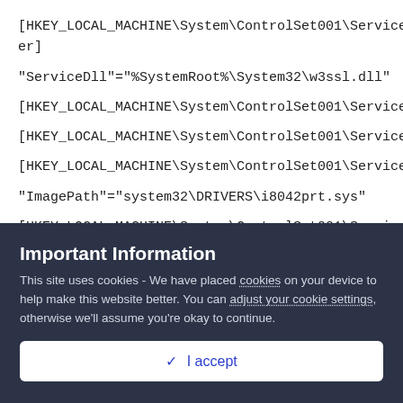[HKEY_LOCAL_MACHINE\System\ControlSet001\Services\HTTPFilter]
"ServiceDll"="%SystemRoot%\System32\w3ssl.dll"
[HKEY_LOCAL_MACHINE\System\ControlSet001\Services\i2omgmt]
[HKEY_LOCAL_MACHINE\System\ControlSet001\Services\i2omp]
[HKEY_LOCAL_MACHINE\System\ControlSet001\Services\i8042prt]
"ImagePath"="system32\DRIVERS\i8042prt.sys"
[HKEY_LOCAL_MACHINE\System\ControlSet001\Services\IDriverT]
"... ... ... ..."
Important Information
This site uses cookies - We have placed cookies on your device to help make this website better. You can adjust your cookie settings, otherwise we'll assume you're okay to continue.
✓ I accept